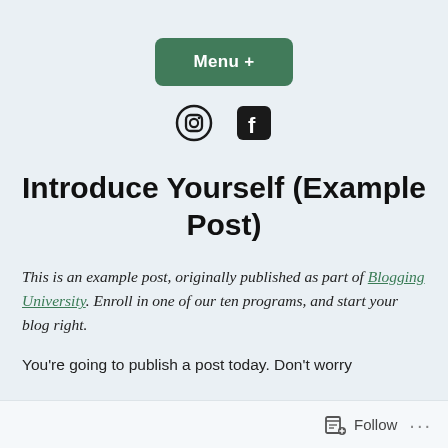[Figure (other): Green rounded rectangle button labeled 'Menu +']
[Figure (other): Social media icons: Instagram (circle with camera) and Facebook (F logo)]
Introduce Yourself (Example Post)
This is an example post, originally published as part of Blogging University. Enroll in one of our ten programs, and start your blog right.
You're going to publish a post today. Don't worry
Follow ...